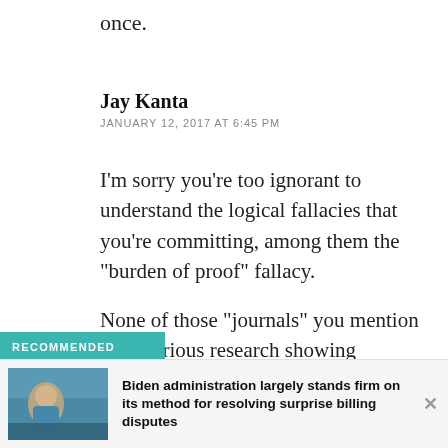once.
Jay Kanta
JANUARY 12, 2017 AT 6:45 PM
I’m sorry you’re too ignorant to understand the logical fallacies that you’re committing, among them the “burden of proof” fallacy.
None of those “journals” you mention have serious research showing homeopathy works against placebo when statistical strength is calculated.
RECOMMENDED
Biden administration largely stands firm on its method for resolving surprise billing disputes